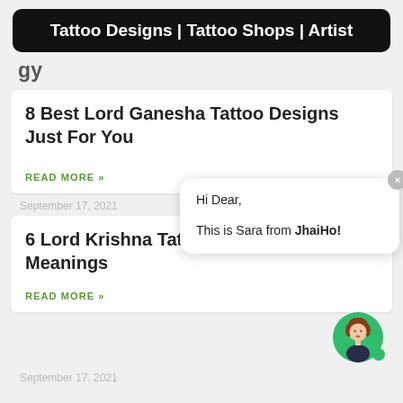Tattoo Designs | Tattoo Shops | Artist
8 Best Lord Ganesha Tattoo Designs Just For You
READ MORE »
September 17, 2021
6 Lord Krishna Tat… Meanings
READ MORE »
[Figure (screenshot): Chat popup overlay with close button (x), greeting 'Hi Dear,' and message 'This is Sara from JhaiHo!' with bold 'JhaiHo!']
[Figure (illustration): Circular green avatar icon showing a cartoon woman with brown/auburn hair and dark top]
September 17, 2021